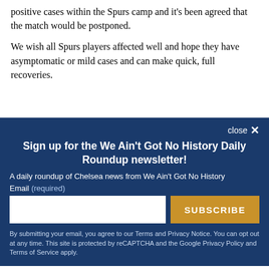positive cases within the Spurs camp and it's been agreed that the match would be postponed.
We wish all Spurs players affected well and hope they have asymptomatic or mild cases and can make quick, full recoveries.
Sign up for the We Ain't Got No History Daily Roundup newsletter!
A daily roundup of Chelsea news from We Ain't Got No History
Email (required)
SUBSCRIBE
By submitting your email, you agree to our Terms and Privacy Notice. You can opt out at any time. This site is protected by reCAPTCHA and the Google Privacy Policy and Terms of Service apply.